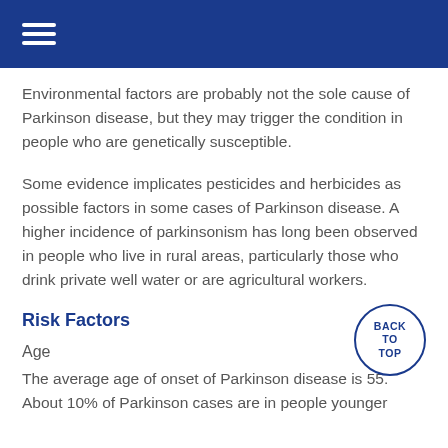≡
Environmental factors are probably not the sole cause of Parkinson disease, but they may trigger the condition in people who are genetically susceptible.
Some evidence implicates pesticides and herbicides as possible factors in some cases of Parkinson disease. A higher incidence of parkinsonism has long been observed in people who live in rural areas, particularly those who drink private well water or are agricultural workers.
Risk Factors
[Figure (other): Circular back-to-top navigation button with text BACK TO TOP in blue]
Age
The average age of onset of Parkinson disease is 55. About 10% of Parkinson cases are in people younger